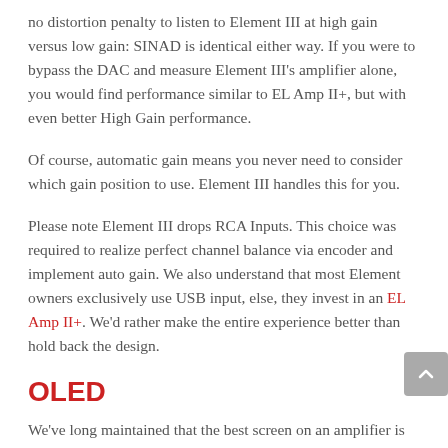no distortion penalty to listen to Element III at high gain versus low gain: SINAD is identical either way. If you were to bypass the DAC and measure Element III's amplifier alone, you would find performance similar to EL Amp II+, but with even better High Gain performance.
Of course, automatic gain means you never need to consider which gain position to use. Element III handles this for you.
Please note Element III drops RCA Inputs. This choice was required to realize perfect channel balance via encoder and implement auto gain. We also understand that most Element owners exclusively use USB input, else, they invest in an EL Amp II+. We'd rather make the entire experience better than hold back the design.
OLED
We've long maintained that the best screen on an amplifier is no screen. This is true until moving to digital